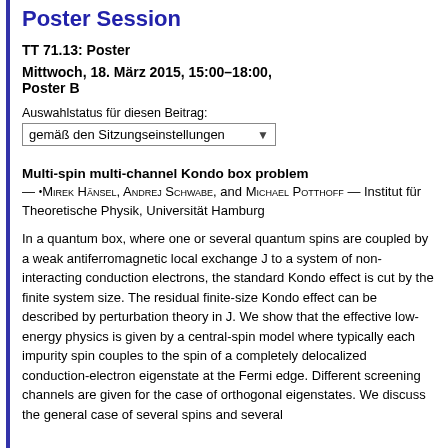Poster Session
TT 71.13: Poster
Mittwoch, 18. März 2015, 15:00–18:00, Poster B
Auswahlstatus für diesen Beitrag:
gemäß den Sitzungseinstellungen
Multi-spin multi-channel Kondo box problem — •Mirek Hänsel, Andrej Schwabe, and Michael Potthoff — Institut für Theoretische Physik, Universität Hamburg
In a quantum box, where one or several quantum spins are coupled by a weak antiferromagnetic local exchange J to a system of non-interacting conduction electrons, the standard Kondo effect is cut by the finite system size. The residual finite-size Kondo effect can be described by perturbation theory in J. We show that the effective low-energy physics is given by a central-spin model where typically each impurity spin couples to the spin of a completely delocalized conduction-electron eigenstate at the Fermi edge. Different screening channels are given for the case of orthogonal eigenstates. We discuss the general case of several spins and several